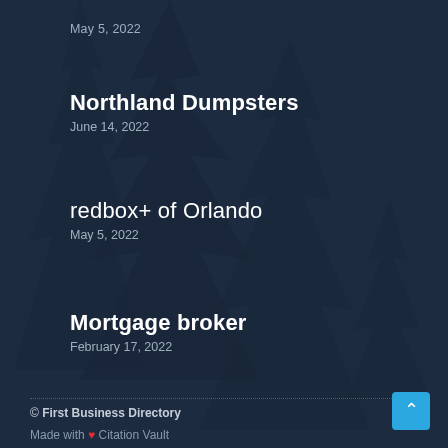May 5, 2022
Northland Dumpsters
June 14, 2022
redbox+ of Orlando
May 5, 2022
Mortgage broker
February 17, 2022
© First Business Directory
Made with ❤ Citation Vault